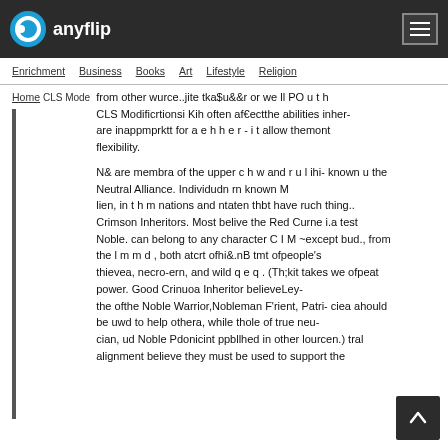anyflip
Enrichment  Business  Books  Art  Lifestyle  Religion
from other wurce..jite tka$u&&r or we ll PO u t h CLS Modificrtionsi Kih often af€ectthe abilities inher- are inappmprktt for a e h h e r - i t allow themont flexibility.
N& are membra of the upper c h w and r u l ihi- known u the Neutral Alliance. Individudn rn known M lien, in t h m nations and ntaten thbt have ruch thing.. Crimson Inheritors. Most belive the Red Curne i.a test Noble. can belong to any character C I M ~except bud., from the l m m d , both atcrt ofhi&.nB tmt ofpeople's thievea, necro-ern, and wild q e q . (Th;kit takes we ofpeat power. Good Crinuoa Inheritor believeLey- the ofthe Noble Warrior,Nobleman F'rient, Patri- ciea ahould be uwd to help othera, while thole of true neu- cian, ud Noble Pdonicint ppbllhed in other lourcen.) tral alignment believe they must be used to support the